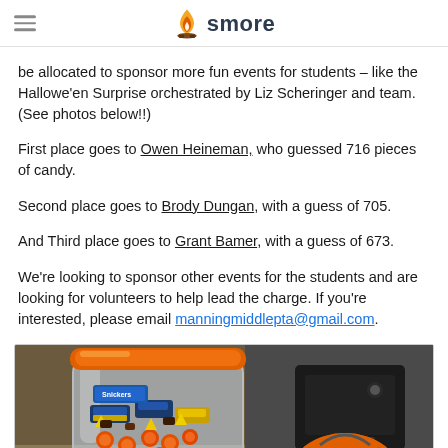smore
be allocated to sponsor more fun events for students – like the Hallowe'en Surprise orchestrated by Liz Scheringer and team. (See photos below!!)
First place goes to Owen Heineman, who guessed 716 pieces of candy.
Second place goes to Brody Dungan, with a guess of 705.
And Third place goes to Grant Bamer, with a guess of 673.
We're looking to sponsor other events for the students and are looking for volunteers to help lead the charge. If you're interested, please email manningmiddlepta@gmail.com.
[Figure (photo): A large clear plastic jar with an orange lid filled with assorted Halloween candy including Snickers bars, Reese's cups, orange peanut butter kisses, and other mixed candies. An orange Halloween pumpkin bucket is partially visible in the foreground right.]